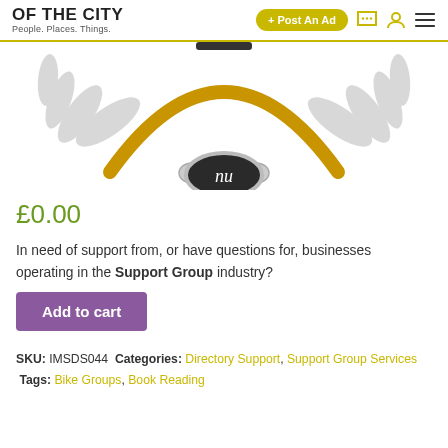OF THE CITY | People. Places. Things. | + Post An Ad
[Figure (illustration): Gold/amber colored necklace or bracelet with an oval pendant bearing a stylized 'nu' symbol, set against a white background with gray laurel leaf decorations.]
£0.00
In need of support from, or have questions for, businesses operating in the Support Group industry?
Add to cart
SKU: IMSDS044  Categories: Directory Support, Support Group Services  Tags: Bike Groups, Book Reading